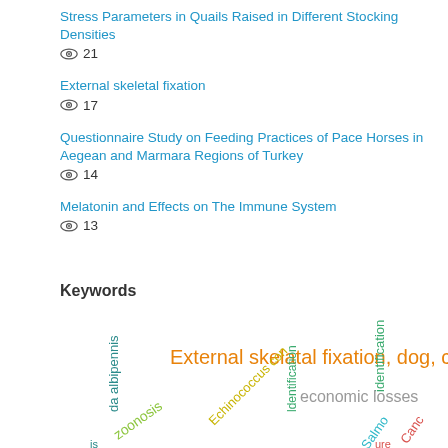Stress Parameters in Quails Raised in Different Stocking Densities
👁 21
External skeletal fixation
👁 17
Questionnaire Study on Feeding Practices of Pace Horses in Aegean and Marmara Regions of Turkey
👁 14
Melatonin and Effects on The Immune System
👁 13
Keywords
[Figure (other): Word cloud showing keywords including: External skelatal fixation dog cat, da albipennis, zoonosis, Echinococcus con, identification, economic losses, Salmonella, Cancer, Turkey]